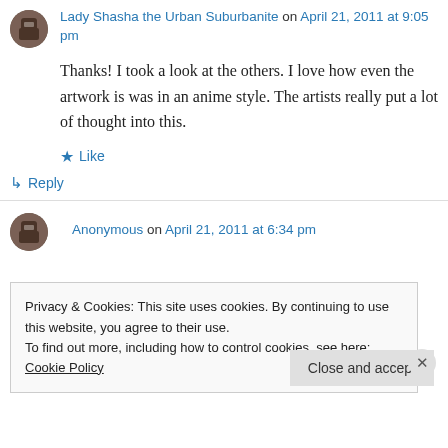Lady Shasha the Urban Suburbanite on April 21, 2011 at 9:05 pm
Thanks! I took a look at the others. I love how even the artwork is was in an anime style. The artists really put a lot of thought into this.
Like
Reply
Anonymous on April 21, 2011 at 6:34 pm
Privacy & Cookies: This site uses cookies. By continuing to use this website, you agree to their use.
To find out more, including how to control cookies, see here: Cookie Policy
Close and accept